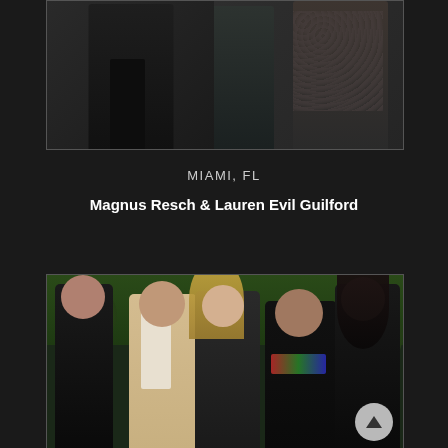[Figure (photo): Partial photo of two people at an event — a person in dark clothing on the left and a person in a floral/patterned dress on the right, cropped at the top]
MIAMI, FL
Magnus Resch & Lauren Evil Guilford
[Figure (photo): Group photo of five people posing together at an outdoor evening event with tropical greenery in the background. From left to right: woman in black sheer top, man in beige blazer with white shirt, blonde woman, man in black t-shirt with colorful text, woman in black jacket with long dark hair. An up-arrow navigation button is visible in the lower right.]